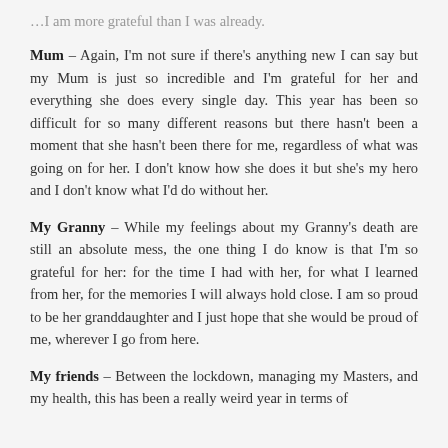…I am more grateful than I was already.
Mum – Again, I'm not sure if there's anything new I can say but my Mum is just so incredible and I'm grateful for her and everything she does every single day. This year has been so difficult for so many different reasons but there hasn't been a moment that she hasn't been there for me, regardless of what was going on for her. I don't know how she does it but she's my hero and I don't know what I'd do without her.
My Granny – While my feelings about my Granny's death are still an absolute mess, the one thing I do know is that I'm so grateful for her: for the time I had with her, for what I learned from her, for the memories I will always hold close. I am so proud to be her granddaughter and I just hope that she would be proud of me, wherever I go from here.
My friends – Between the lockdown, managing my Masters, and my health, this has been a really weird year in terms of